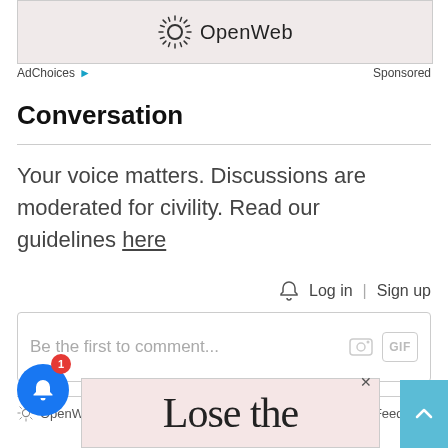[Figure (logo): OpenWeb logo with sunburst icon inside a light pink/beige banner ad]
AdChoices ▷   Sponsored
Conversation
Your voice matters. Discussions are moderated for civility. Read our guidelines here
🔔  Log in | Sign up
Be the first to comment...
[Figure (logo): OpenWeb footer logo and Terms | Privacy | Feedback links]
[Figure (screenshot): Blue notification bell button with red badge showing 1, and bottom advertisement banner showing 'Lose the' text]